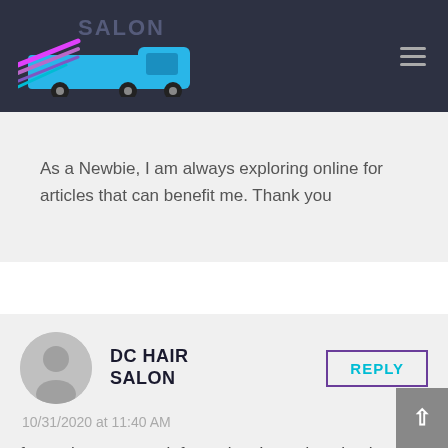Mobile Billboard — DC HAIR SALON
As a Newbie, I am always exploring online for articles that can benefit me. Thank you
DC HAIR SALON
10/31/2020 at 11:40 AM
fantastic post, very informative. I wonder why the other experts of this sector do not notice this. You should continue your writing. I'm sure,